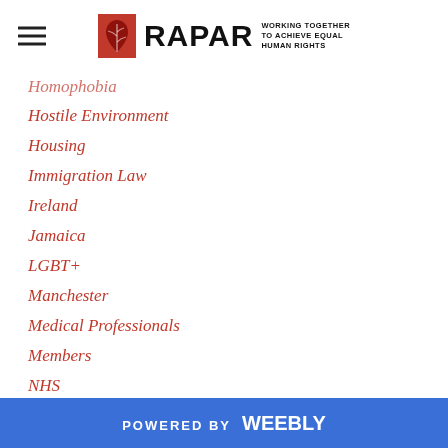RAPAR — WORKING TOGETHER TO ACHIEVE EQUAL HUMAN RIGHTS
Homophobia
Hostile Environment
Housing
Immigration Law
Ireland
Jamaica
LGBT+
Manchester
Medical Professionals
Members
NHS
Obituary
Pakistan
Police
Racism
Research
POWERED BY weebly